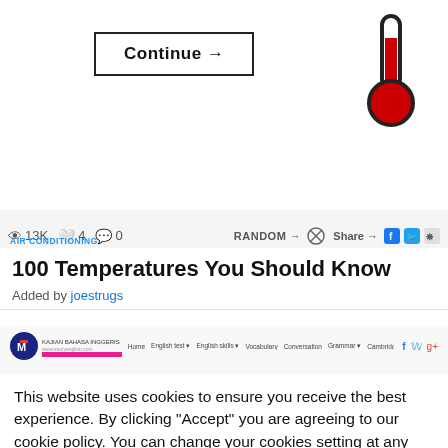[Figure (screenshot): Continue button with right arrow, and a thermometer icon with red mercury on upper right]
[Figure (infographic): Website stats bar showing 13K views, 4 likes, 0 comments, AIR CONDITIONING category label, RANDOM and Share buttons with social icons]
100 Temperatures You Should Know
Added by joestrugs
[Figure (screenshot): Partial screenshot of a language learning website with logo, navigation links, and social media icons, with a magenta bar element]
This website uses cookies to ensure you receive the best experience. By clicking "Accept" you are agreeing to our cookie policy. You can change your cookies setting at any time and read how we use them in our  Privacy &  Cookies Policy.
Accept
Learn more